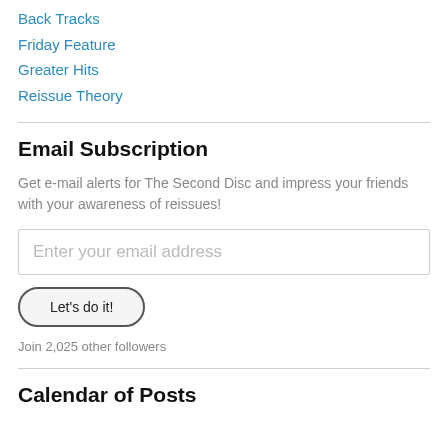Back Tracks
Friday Feature
Greater Hits
Reissue Theory
Email Subscription
Get e-mail alerts for The Second Disc and impress your friends with your awareness of reissues!
Enter your email address
Let's do it!
Join 2,025 other followers
Calendar of Posts